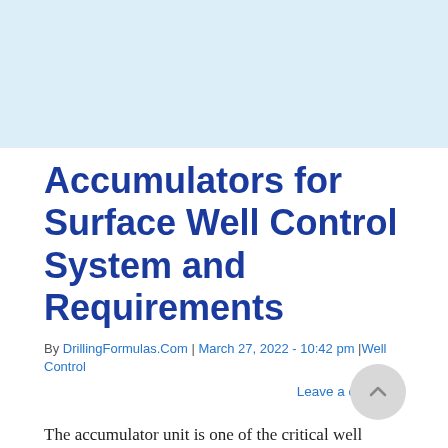Accumulators for Surface Well Control System and Requirements
By DrillingFormulas.Com | March 27, 2022 - 10:42 pm |Well Control
Leave a comment
The accumulator unit is one of the critical well control equipment and its main aim is to supply the pumps with atmospheric fluid while also storing high pressure operating